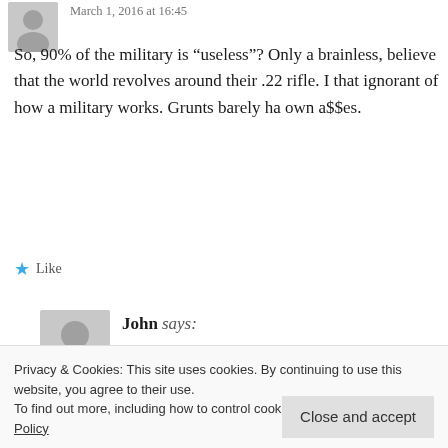March 1, 2016 at 16:45
So, 90% of the military is “useless”? Only a brainless, believe that the world revolves around their .22 rifle. I that ignorant of how a military works. Grunts barely ha own a$$es.
★ Like
John says:
March 1, 2016 at 15:01
I had a really long write up in response to Son read it, and realized that I was angry and my c those who served and served well but always
Privacy & Cookies: This site uses cookies. By continuing to use this website, you agree to their use.
To find out more, including how to control cookies, see here: Cookie Policy
Close and accept